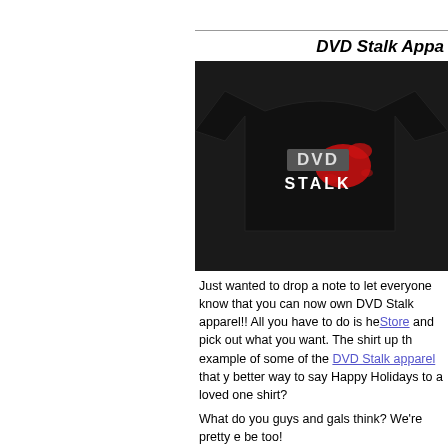DVD Stalk Appa...
[Figure (photo): A black t-shirt with DVD Stalk logo — grey block letters 'DVD' and 'STALK' with a red paint splatter graphic]
Just wanted to drop a note to let everyone know that you can now own DVD Stalk apparel!! All you have to do is head over to the DVD Stalk Store and pick out what you want. The shirt up there is just one example of some of the DVD Stalk apparel that you can purchase. What better way to say Happy Holidays to a loved one than with a DVD Stalk shirt?
What do you guys and gals think? We're pretty excited about it, and hope you'll be too!
Editor's N...